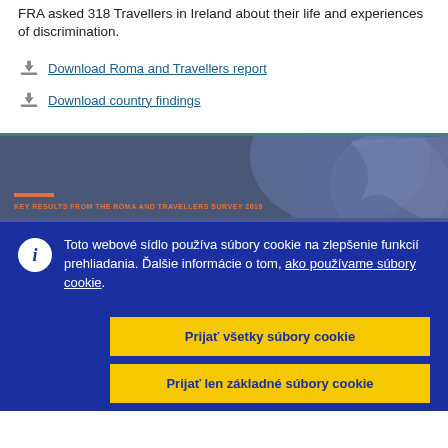FRA asked 318 Travellers in Ireland about their life and experiences of discrimination.
Download Roma and Travellers report
Download country findings
[Figure (screenshot): Thumbnail of the Roma and Travellers Survey 2019 report cover with blue background and orange text 'KEY RESULTS FROM THE ROMA AND TRAVELLERS SURVEY 2019']
Toto webové sídlo používa súbory cookie na zlepšenie funkcií prehliadania. Ďalšie informácie o tom, ako používame súbory cookie.
Prijať všetky súbory cookie
Prijať len základné súbory cookie